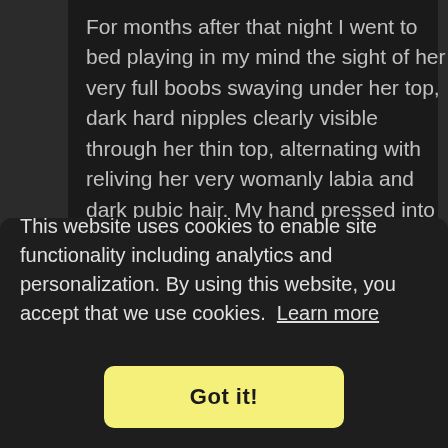For months after that night I went to bed playing in my mind the sight of her very full boobs swaying under her top, dark hard nipples clearly visible through her thin top, alternating with reliving her very womanly labia and dark pubic hair. My hand pressed into my wet sensitive kootchy, discovering my clit as the main trigger for orgasms. I masturbated nightly. all I wanted to do was kiss
This website uses cookies to enable site functionality including analytics and personalization. By using this website, you accept that we use cookies. Learn more
Got it!